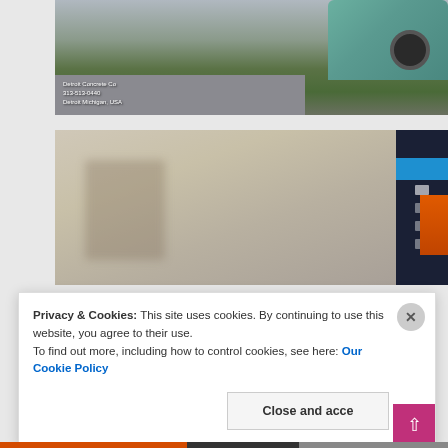[Figure (photo): Street-level photo of a concrete driveway/sidewalk area with green grass, a car (teal/green color) visible on the right. Watermark text reads: Detroit Concrete Co, 313-513-0440, Detroit Michigan, USA]
[Figure (screenshot): Two-panel image: left side shows a blurry interior/room photo; right side shows a mobile device screen with dark background, blue highlighted item, orange panel, and various icons/menu items visible]
Privacy & Cookies: This site uses cookies. By continuing to use this website, you agree to their use.
To find out more, including how to control cookies, see here: Our Cookie Policy
Close and accept